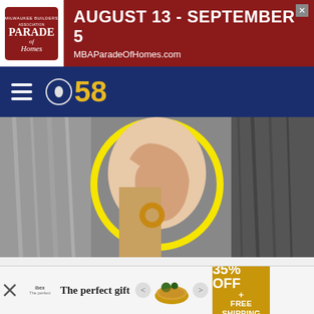[Figure (screenshot): Advertisement banner for MBA Parade of Homes, August 13 - September 5, MBAParadeOfHomes.com, with red background and logo]
[Figure (logo): CBS 58 news station logo and navigation bar on dark blue background with hamburger menu]
[Figure (photo): Black and white photo of a woman's ear with a gold hoop earring, highlighted in a yellow circle]
Scientists Find: Hearing Loss Solution for 54+ Adults
hear.com
[Figure (screenshot): Bottom advertisement banner showing 'The perfect gift' with bowl image, navigation arrows, and '35% OFF + FREE SHIPPING' promo box]